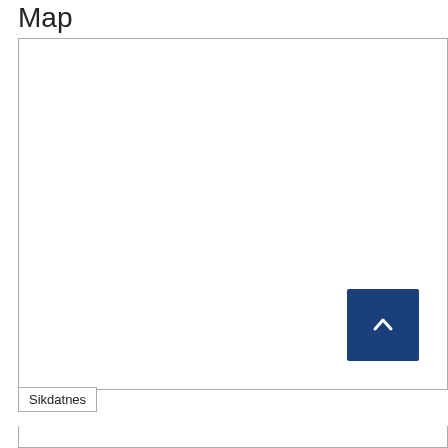Map
[Figure (map): A blank white map container with a dark blue scroll-up button in the lower right corner. The map area is enclosed in a light gray border. A 'Sikdatnes' button appears below the map area.]